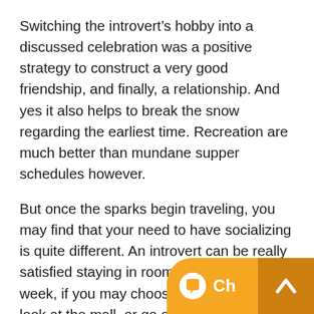Switching the introvert’s hobby into a discussed celebration was a positive strategy to construct a very good friendship, and finally, a relationship. And yes it also helps to break the snow regarding the earliest time. Recreation are much better than mundane supper schedules however.
But once the sparks begin traveling, you may find that your need to have socializing is quite different. An introvert can be really satisfied staying in room each night each week, if you may choose to find out a film, look at the mall, or go out with neighbors. It is vital that early inside your commitment, b... established, a... be well estab... introvert out and about once in awhile, but trying to transform that person will simply enable you t... heartache. Recall the individual first you satisfied – whi... was a person you wanted to be with, appreciate, do not...
[Figure (screenshot): Chat widget overlay with message 'Welcome to Task Force Protection Bureau! How can we help you?' and orange chat button with 'Ch' label and minimize button]